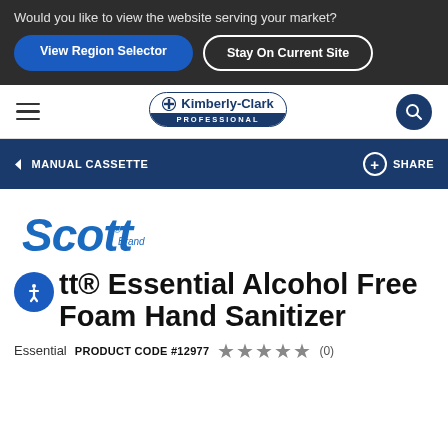Would you like to view the website serving your market?
View Region Selector
Stay On Current Site
[Figure (logo): Kimberly-Clark Professional logo with cross symbol and oval border]
< MANUAL CASSETTE
+ SHARE
[Figure (logo): Scott Brand cursive logo in blue]
Scott® Essential Alcohol Free Foam Hand Sanitizer
Essential   PRODUCT CODE #12977   ★★★★★ (0)